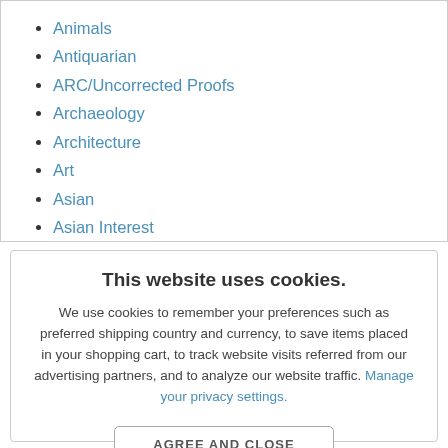Animals
Antiquarian
ARC/Uncorrected Proofs
Archaeology
Architecture
Art
Asian
Asian Interest
Audiobooks
This website uses cookies.
We use cookies to remember your preferences such as preferred shipping country and currency, to save items placed in your shopping cart, to track website visits referred from our advertising partners, and to analyze our website traffic. Manage your privacy settings.
AGREE AND CLOSE